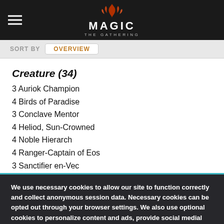Magic: The Gathering
SORT BY  OVERVIEW
Creature (34)
3 Auriok Champion
4 Birds of Paradise
3 Conclave Mentor
4 Heliod, Sun-Crowned
4 Noble Hierarch
4 Ranger-Captain of Eos
3 Sanctifier en-Vec
We use necessary cookies to allow our site to function correctly and collect anonymous session data. Necessary cookies can be opted out through your browser settings. We also use optional cookies to personalize content and ads, provide social medial features and analyze web traffic. By clicking “OK, I agree,” you consent to optional cookies.
(Learn more about cookies.)
OK, I agree    No, thanks